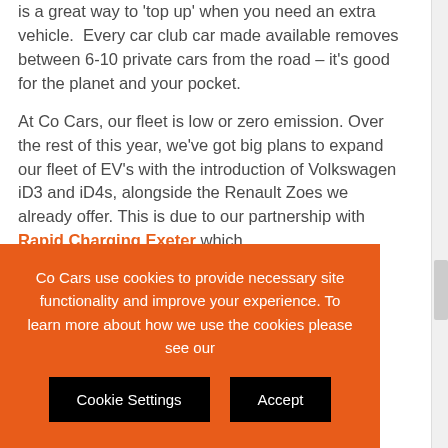is a great way to 'top up' when you need an extra vehicle. Every car club car made available removes between 6-10 private cars from the road – it's good for the planet and your pocket.
At Co Cars, our fleet is low or zero emission. Over the rest of this year, we've got big plans to expand our fleet of EV's with the introduction of Volkswagen iD3 and iD4s, alongside the Renault Zoes we already offer. This is due to our partnership with Rapid Charging Exeter which …o super- …orks here.
Co Cars use cookies to provide necessary site functionality and improve your experience. To learn more about how we use the cookies please see our